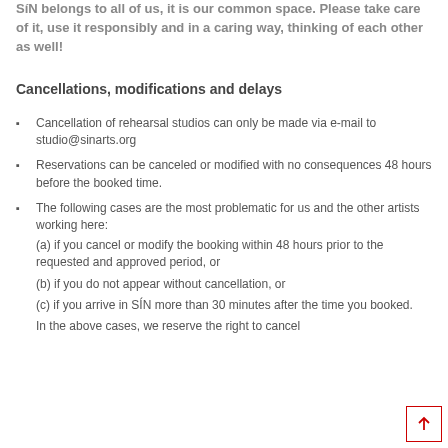SíN belongs to all of us, it is our common space. Please take care of it, use it responsibly and in a caring way, thinking of each other as well!
Cancellations, modifications and delays
Cancellation of rehearsal studios can only be made via e-mail to studio@sinarts.org
Reservations can be canceled or modified with no consequences 48 hours before the booked time.
The following cases are the most problematic for us and the other artists working here:
(a) if you cancel or modify the booking within 48 hours prior to the requested and approved period, or
(b) if you do not appear without cancellation, or
(c) if you arrive in SÍN more than 30 minutes after the time you booked.
In the above cases, we reserve the right to cancel